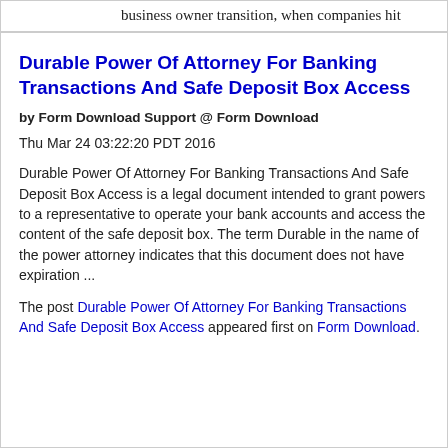business owner transition, when companies hit the wall...
Durable Power Of Attorney For Banking Transactions And Safe Deposit Box Access
by Form Download Support @ Form Download
Thu Mar 24 03:22:20 PDT 2016
Durable Power Of Attorney For Banking Transactions And Safe Deposit Box Access is a legal document intended to grant powers to a representative to operate your bank accounts and access the content of the safe deposit box. The term Durable in the name of the power attorney indicates that this document does not have expiration ...
The post Durable Power Of Attorney For Banking Transactions And Safe Deposit Box Access appeared first on Form Download.